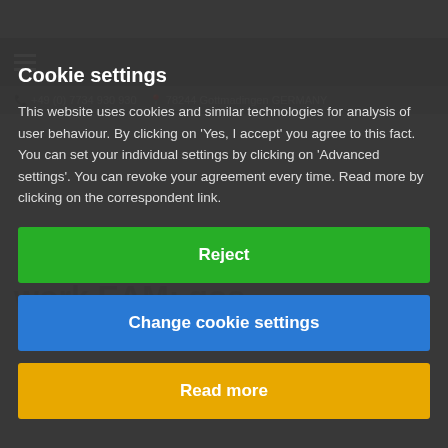Cookie settings
This website uses cookies and similar technologies for analysis of user behaviour. By clicking on 'Yes, I accept' you agree to this fact. You can set your individual settings by clicking on 'Advanced settings'. You can revoke your agreement every time. Read more by clicking on the correspondent link.
Reject
Change cookie settings
Read more